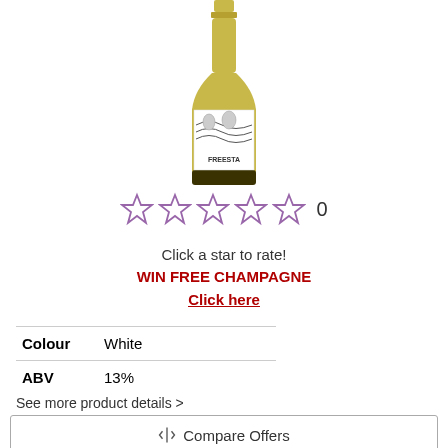[Figure (photo): Wine bottle with illustrated label reading FREESTA, olive-green bottle with white label featuring black and white artwork]
[Figure (other): Five empty/outline star rating icons followed by the number 0]
Click a star to rate!
WIN FREE CHAMPAGNE
Click here
| Colour | White |
| ABV | 13% |
See more product details >
⚖ Compare Offers